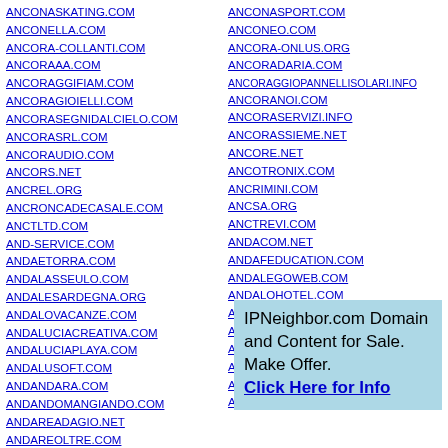ANCONASKATING.COM
ANCONELLA.COM
ANCORA-COLLANTI.COM
ANCORAAA.COM
ANCORAGGIFIAM.COM
ANCORAGIOIELLI.COM
ANCORASEGNIDALCIELO.COM
ANCORASRL.COM
ANCORAUDIO.COM
ANCORS.NET
ANCREL.ORG
ANCRONCADECASALE.COM
ANCTLTD.COM
AND-SERVICE.COM
ANDAETORRA.COM
ANDALASSEULO.COM
ANDALESARDEGNA.ORG
ANDALOVACANZE.COM
ANDALUCIACREATIVA.COM
ANDALUCIAPLAYA.COM
ANDALUSOFT.COM
ANDANDARA.COM
ANDANDOMANGIANDO.COM
ANDAREADAGIO.NET
ANDAREOLTRE.COM
ANDARGUSTANDO.COM
ANDARPERARTE.COM
ANDATA-RITORNO.COM
ANCONASPORT.COM
ANCONEO.COM
ANCORA-ONLUS.ORG
ANCORADARIA.COM
ANCORAGGIOPANNELLISOLARI.INFO
ANCORANOI.COM
ANCORASERVIZI.INFO
ANCORASSIEME.NET
ANCORE.NET
ANCOTRONIX.COM
ANCRIMINI.COM
ANCSA.ORG
ANCTREVI.COM
ANDACOM.NET
ANDAFEDUCATION.COM
ANDALEGOWEB.COM
ANDALOHOTEL.COM
ANDALUCESENMADRID.COM
ANDALUCIAENMISLATA.COM
ANDALUCISTASPORBAZA.COM
ANDAMANE.INFO
ANDANDARAX.COM
ANDANZASDELACUADRILLA.COM
[Figure (infographic): Ad box with light blue background: 'IPNeighbor.com Domain and Content for Sale. Make Offer. Click Here for Info']